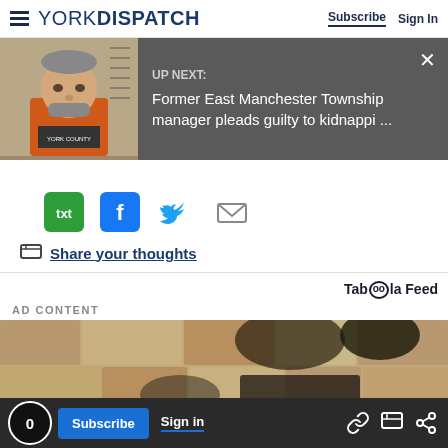YORK DISPATCH | Subscribe  Sign In
[Figure (screenshot): UP NEXT banner with mugshot photo of man in orange jumpsuit. Text: UP NEXT: Former East Manchester Township manager pleads guilty to kidnappi ...]
[Figure (infographic): Social sharing icons: txt (green), Facebook (blue), Twitter (blue bird), Email (gray envelope)]
Share your thoughts
Taboola Feed
AD CONTENT
[Figure (photo): Bottom portion of ad content image showing tan/brown textured stone wall background with dark objects]
0  Subscribe  Sign in